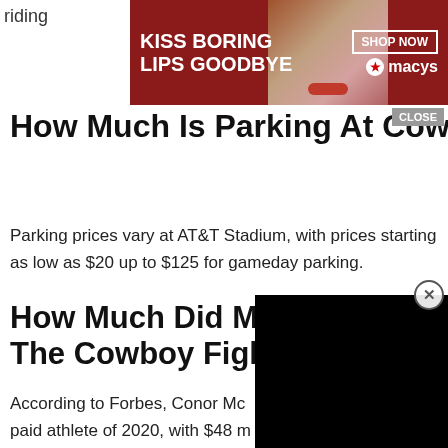riding
[Figure (screenshot): Macy's lipstick advertisement banner: red background with woman's face, text 'KISS BORING LIPS GOODBYE', 'SHOP NOW' button, Macy's star logo. Has a CLOSE button overlay.]
How Much Is Parking At Cowboys Stadium?
Parking prices vary at AT&T Stadium, with prices starting as low as $20 up to $125 for gameday parking.
How Much Did Mcgregor Make Off The Cowboy Fight?
According to Forbes, Conor Mc paid athlete of 2020, with $48 m than the self-proclaimed $80 million from his fight with Donald Cerrone.
[Figure (screenshot): Black video player overlay covering right portion of page with a circular close (X) button and a gray CLOSE button below.]